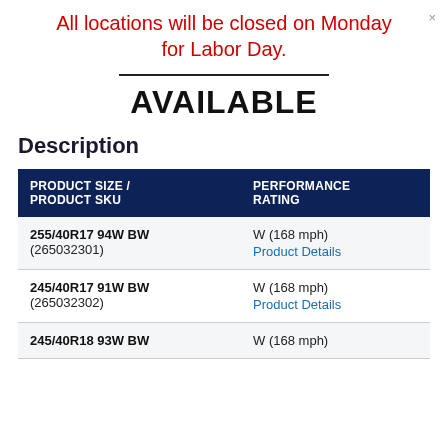All locations will be closed on Monday for Labor Day.
AVAILABLE
Description
| PRODUCT SIZE / PRODUCT SKU | PERFORMANCE RATING |
| --- | --- |
| 255/40R17 94W BW (265032301) | W (168 mph) Product Details |
| 245/40R17 91W BW (265032302) | W (168 mph) Product Details |
| 245/40R18 93W BW | W (168 mph) |